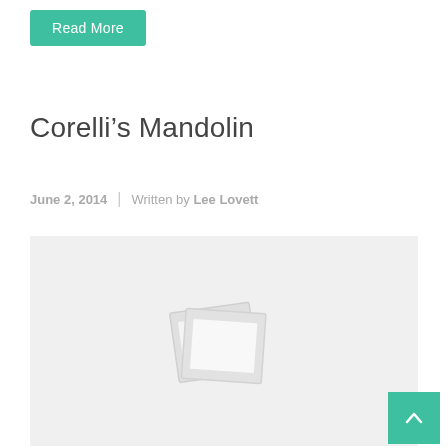Read More
Corelli’s Mandolin
June 2, 2014 | Written by Lee Lovett
[Figure (illustration): Gray placeholder image box with a faint stacked photo/polaroid icon in the center]
∧ (scroll to top button)